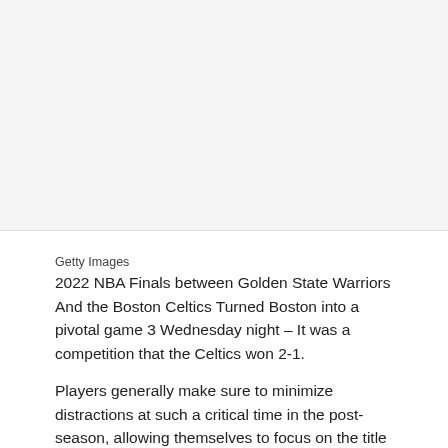[Figure (photo): Blank/white image placeholder area for Getty Images photo of 2022 NBA Finals]
Getty Images
2022 NBA Finals between Golden State Warriors And the Boston Celtics Turned Boston into a pivotal game 3 Wednesday night – It was a competition that the Celtics won 2-1.
Players generally make sure to minimize distractions at such a critical time in the post-season, allowing themselves to focus on the title pursuit. Prior to Game 3, there was one major distraction that warriors could not